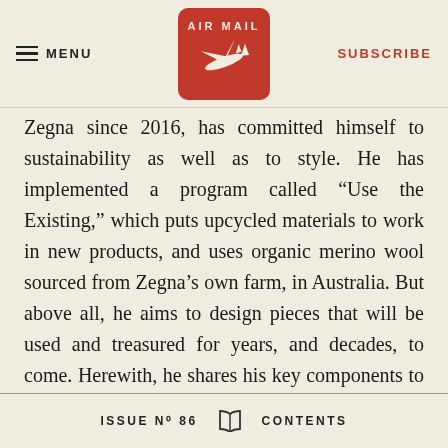MENU | AIR MAIL | SUBSCRIBE
Zegna since 2016, has committed himself to sustainability as well as to style. He has implemented a program called “Use the Existing,” which puts upcycled materials to work in new products, and uses organic merino wool sourced from Zegna’s own farm, in Australia. But above all, he aims to design pieces that will be used and treasured for years, and decades, to come. Herewith, he shares his key components to the good life. —Ashley Baker
ISSUE No 86  CONTENTS